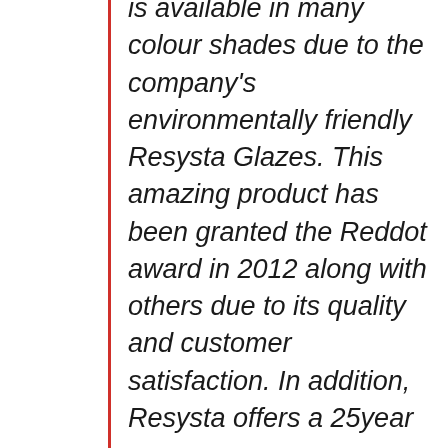is available in many colour shades due to the company's environmentally friendly Resysta Glazes. This amazing product has been granted the Reddot award in 2012 along with others due to its quality and customer satisfaction. In addition, Resysta offers a 25year